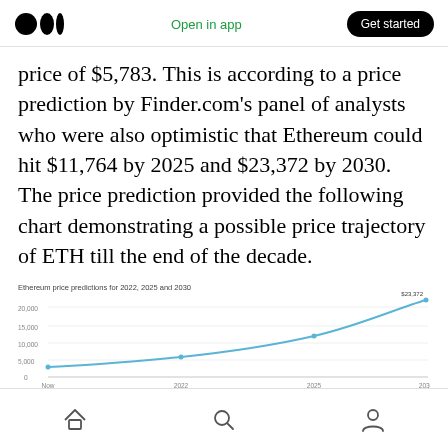Medium logo | Open in app | Get started
price of $5,783. This is according to a price prediction by Finder.com’s panel of analysts who were also optimistic that Ethereum could hit $11,764 by 2025 and $23,372 by 2030. The price prediction provided the following chart demonstrating a possible price trajectory of ETH till the end of the decade.
[Figure (line-chart): Ethereum price predictions for 2022, 2025 and 2030]
Home | Search | Profile